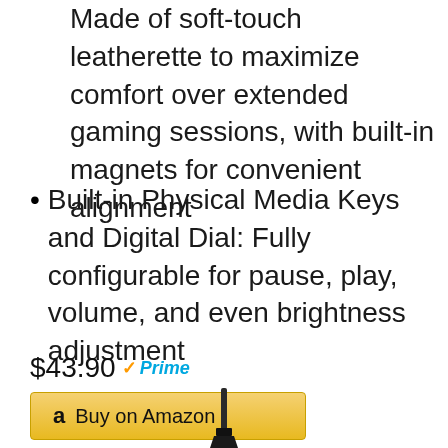Made of soft-touch leatherette to maximize comfort over extended gaming sessions, with built-in magnets for convenient alignment
Built-in Physical Media Keys and Digital Dial: Fully configurable for pause, play, volume, and even brightness adjustment
$43.90 Prime
[Figure (other): Partial image of a product (appears to be a stand or mount) at the bottom center of the page]